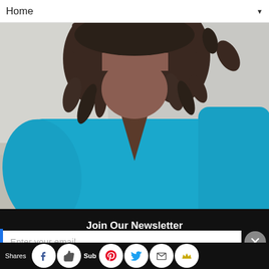Home ▼
[Figure (photo): Woman wearing a bright blue long-sleeve v-neck top with curly locs hairstyle and a beaded necklace, photographed from the neck/shoulders down against a light blurred background.]
Join Our Newsletter
Enter your email
Shares